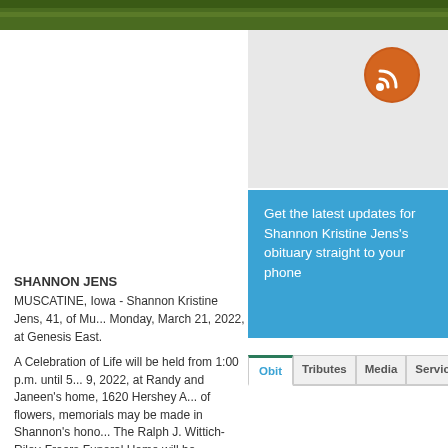[Figure (photo): Green grass/nature photo strip at top]
[Figure (logo): Orange RSS feed icon/button]
Get the latest updates for Shannon Kristine Jens's obituary straight to your phone
Obit | Tributes | Media | Services
SHANNON JENS
MUSCATINE, Iowa - Shannon Kristine Jens, 41, of Mu... Monday, March 21, 2022, at Genesis East.
A Celebration of Life will be held from 1:00 p.m. until 5... 9, 2022, at Randy and Janeen's home, 1620 Hershey A... of flowers, memorials may be made in Shannon's hono... The Ralph J. Wittich-Riley-Freers Funeral Home will be... arrangements. Online Condolences: www.wittichfunera...